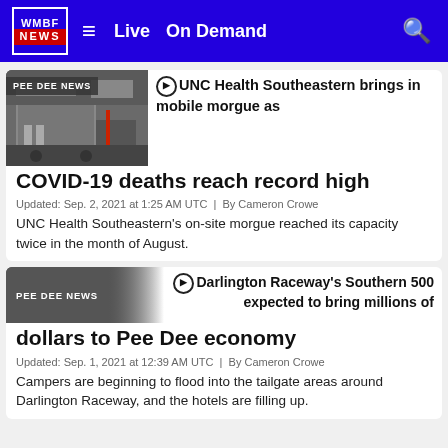WMBF NEWS  ≡  Live  On Demand
[Figure (screenshot): Thumbnail photo of a mobile morgue trailer outside a building, with red equipment visible]
▶ UNC Health Southeastern brings in mobile morgue as COVID-19 deaths reach record high
Updated: Sep. 2, 2021 at 1:25 AM UTC  |  By Cameron Crowe
UNC Health Southeastern's on-site morgue reached its capacity twice in the month of August.
▶ Darlington Raceway's Southern 500 expected to bring millions of dollars to Pee Dee economy
Updated: Sep. 1, 2021 at 12:39 AM UTC  |  By Cameron Crowe
Campers are beginning to flood into the tailgate areas around Darlington Raceway, and the hotels are filling up.